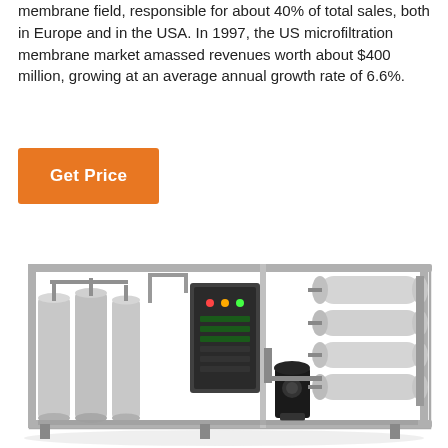membrane field, responsible for about 40% of total sales, both in Europe and in the USA. In 1997, the US microfiltration membrane market amassed revenues worth about $400 million, growing at an average annual growth rate of 6.6%.
[Figure (other): Orange 'Get Price' button]
[Figure (photo): Industrial water filtration / reverse osmosis membrane system with stainless steel frame, cylindrical membrane housings, pre-filter tanks, control panel, and pump on a metal skid.]